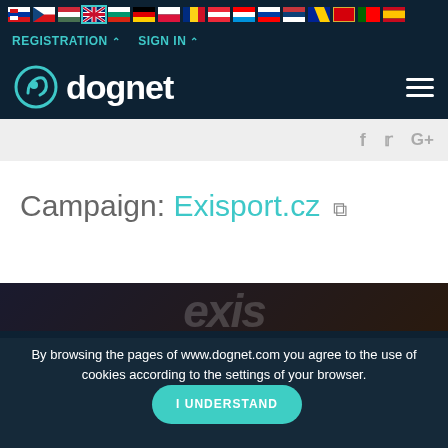[Figure (screenshot): Navigation bar with country flags for Slovakia, Czech Republic, Hungary, UK, Bulgaria, Germany, Poland, Romania, Austria, Croatia, Slovenia, Serbia, Bosnia, Montenegro, Portugal, Spain]
REGISTRATION ^ SIGN IN ^
[Figure (logo): Dognet logo with icon and hamburger menu on dark navy background]
[Figure (screenshot): Social media icons: Facebook, Twitter, Google+ on light grey bar]
Campaign: Exisport.cz
By browsing the pages of www.dognet.com you agree to the use of cookies according to the settings of your browser.
[Figure (screenshot): Exisport.cz logo watermark on dark background]
I UNDERSTAND